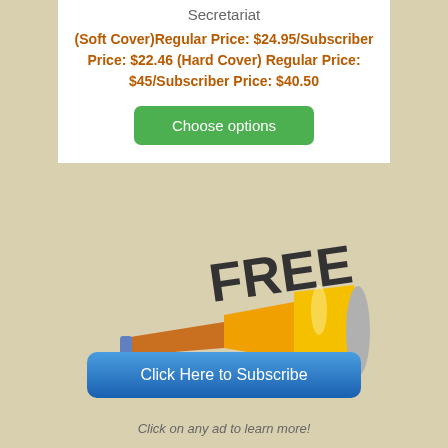Secretariat
(Soft Cover)Regular Price: $24.95/Subscriber Price: $22.46 (Hard Cover) Regular Price: $45/Subscriber Price: $40.50
Choose options
[Figure (illustration): Illustration of a hunting horn with the word FREE in large bold text above it]
Hunting Horn Ringtones
Click Here to Subscribe
Click on any ad to learn more!